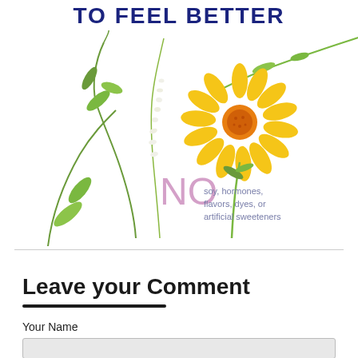TO FEEL BETTER
[Figure (illustration): Botanical illustration with green stems/leaves and a yellow daisy/sunflower on white background, with 'NO soy, hormones, flavors, dyes, or artificial sweeteners' text overlay]
Leave your Comment
Your Name